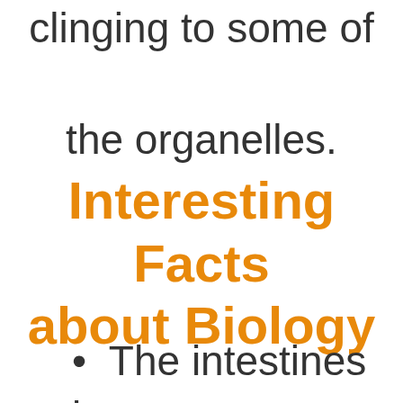clinging to some of the organelles.
Interesting Facts about Biology
The intestines is